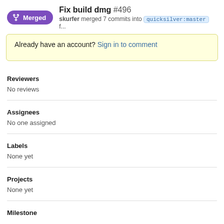Fix build dmg #496 — skurfer merged 7 commits into quicksilver:master f...
Already have an account? Sign in to comment
Reviewers
No reviews
Assignees
No one assigned
Labels
None yet
Projects
None yet
Milestone